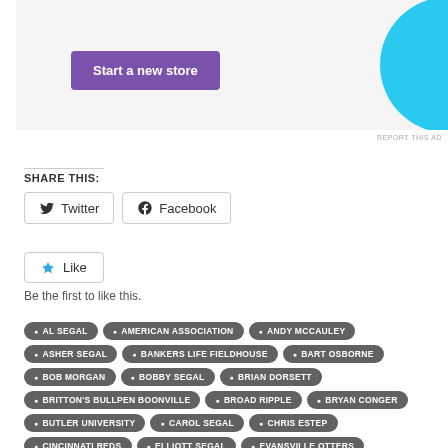[Figure (other): Advertisement banner with purple 'Start a new store' button and cyan decorative shape on the right]
REPORT THIS AD
SHARE THIS:
Twitter
Facebook
Like
Be the first to like this.
AL SEGAL
AMERICAN ASSOCIATION
ANDY MCCAULEY
ASHER SEGAL
BANKERS LIFE FIELDHOUSE
BART OSBORNE
BOB MORGAN
BOBBY SEGAL
BRIAN DORSETT
BRITTON'S BULLPEN BOONVILLE
BROAD RIPPLE
BRYAN CONGER
BUTLER UNIVERSITY
CAROL SEGAL
CHRIS ESTEP
CINCINNATI REDS
ELLIOTT SEGAL
EVANSVILLE OTTERS
GARY SOUTHSHORE RAILCATS
GREG TAGERT
INDIANA MUSTANGS